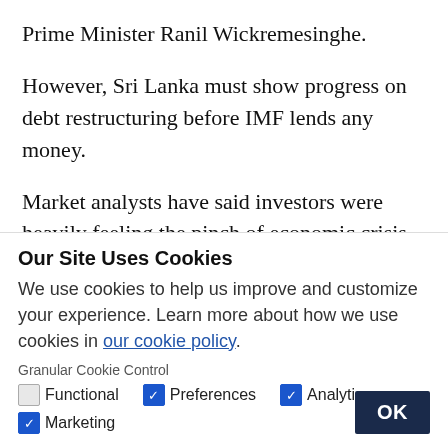Prime Minister Ranil Wickremesinghe.
However, Sri Lanka must show progress on debt restructuring before IMF lends any money.
Market analysts have said investors were heavily feeling the pinch of economic crisis as the country’s fuel bunkers have dried out with the the island nation was frantically looking for dollars to purchase fuel.
Our Site Uses Cookies
We use cookies to help us improve and customize your experience. Learn more about how we use cookies in our cookie policy.
Granular Cookie Control
Functional   Preferences   Analytics   Marketing   OK